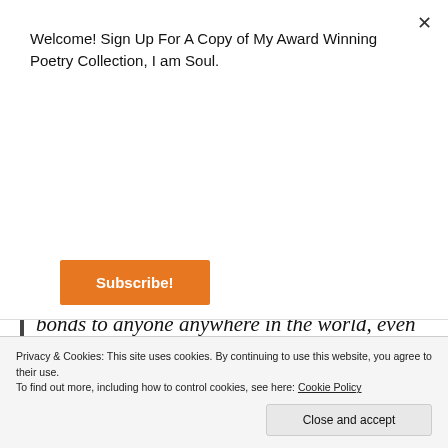Welcome! Sign Up For A Copy of My Award Winning Poetry Collection, I am Soul.
Subscribe!
bonds to anyone anywhere in the world, even where slavery was illegal. Thomas Jefferson bragged to George Washington that the birth of black children was increasing Virginia's capital stock by four
Privacy & Cookies: This site uses cookies. By continuing to use this website, you agree to their use.
To find out more, including how to control cookies, see here: Cookie Policy
Close and accept